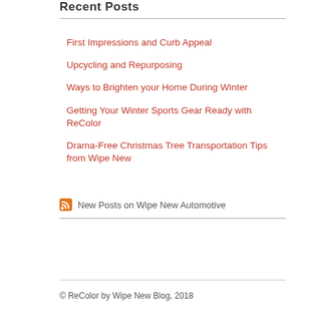Recent Posts
First Impressions and Curb Appeal
Upcycling and Repurposing
Ways to Brighten your Home During Winter
Getting Your Winter Sports Gear Ready with ReColor
Drama-Free Christmas Tree Transportation Tips from Wipe New
New Posts on Wipe New Automotive
© ReColor by Wipe New Blog, 2018